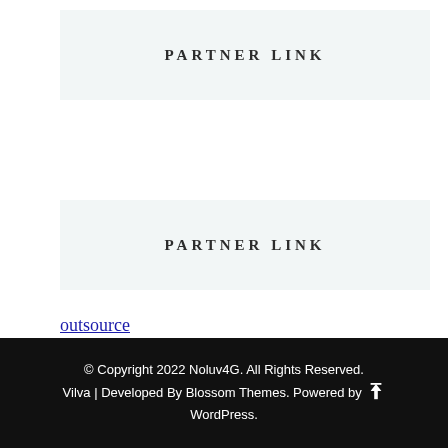PARTNER LINK
PARTNER LINK
outsource
c041cac26dd0e59e9648299abcb93346f5261131
© Copyright 2022 Noluv4G. All Rights Reserved. Vilva | Developed By Blossom Themes. Powered by WordPress.